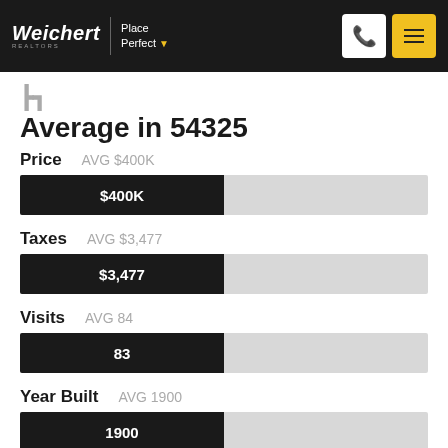Weichert | Place Perfect
Average in 54325
[Figure (bar-chart): Property Statistics Average in 54325]